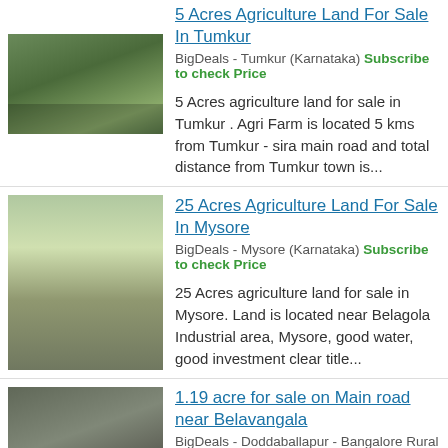5 Acres Agriculture Land For Sale In Tumkur
BigDeals - Tumkur (Karnataka) Subscribe to check Price
5 Acres agriculture land for sale in Tumkur . Agri Farm is located 5 kms from Tumkur - sira main road and total distance from Tumkur town is...
25 Acres Agriculture Land For Sale In Mysore
BigDeals - Mysore (Karnataka) Subscribe to check Price
25 Acres agriculture land for sale in Mysore. Land is located near Belagola Industrial area, Mysore, good water, good investment clear title...
1.19 acre for sale on Main road near Belavangala
BigDeals - Doddaballapur - Bangalore Rural (Karnataka) Subscribe to check Price
1.19 acre for sale on Main road near Belavangala, 3 km from NH-207